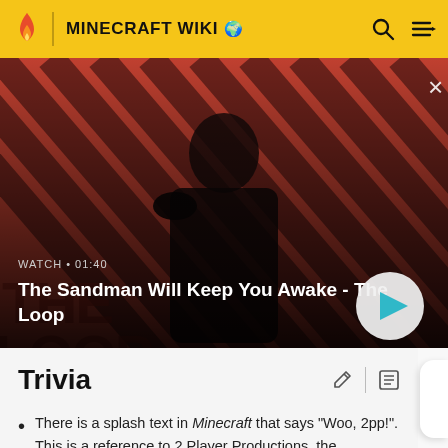MINECRAFT WIKI
[Figure (screenshot): Video thumbnail for 'The Sandman Will Keep You Awake - The Loop' showing a dark-clad figure with a crow on a red/dark striped background. Duration shown: 01:40. Play button visible.]
Trivia
There is a splash text in Minecraft that says "Woo, 2pp!". This is a reference to 2 Player Productions, the